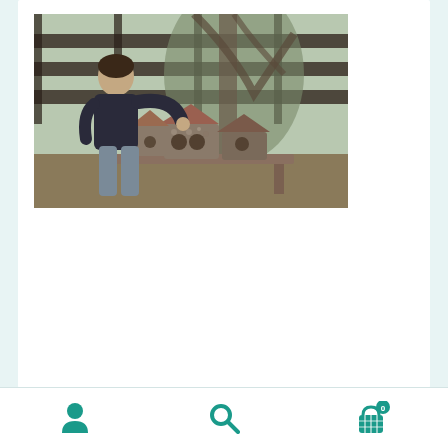[Figure (photo): A young boy in a dark t-shirt and grey pants standing outdoors near a wooden fence and trees, leaning over a table with a decorative miniature stone house/fairy garden structure made of rocks and bark, touching the roof of the small structure. Scene is set in a garden or yard environment.]
Developing the yard for natural habitat and making it a wondrous play space that children can help with is delightful!
[Figure (infographic): Bottom navigation bar with three teal icons: a person/user icon on the left, a search/magnifying glass icon in the center, and a shopping basket/cart icon on the right with a badge showing the number 0.]